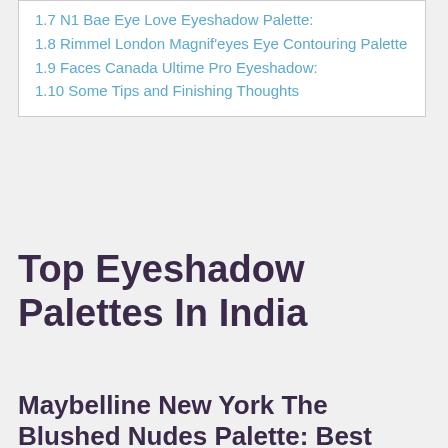1.7 N1 Bae Eye Love Eyeshadow Palette:
1.8 Rimmel London Magnif'eyes Eye Contouring Palette
1.9 Faces Canada Ultime Pro Eyeshadow:
1.10 Some Tips and Finishing Thoughts
Top Eyeshadow Palettes In India
Maybelline New York The Blushed Nudes Palette: Best